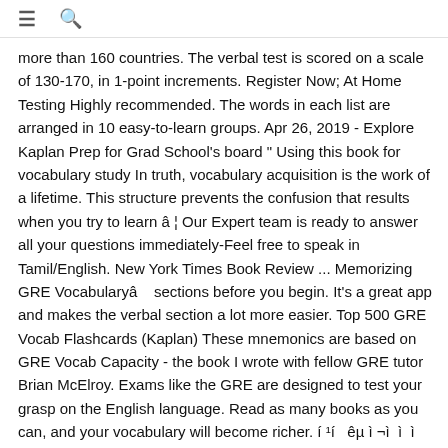≡  🔍
more than 160 countries. The verbal test is scored on a scale of 130-170, in 1-point increments. Register Now; At Home Testing Highly recommended. The words in each list are arranged in 10 easy-to-learn groups. Apr 26, 2019 - Explore Kaplan Prep for Grad School's board " Using this book for vocabulary study In truth, vocabulary acquisition is the work of a lifetime. This structure prevents the confusion that results when you try to learn â¦ Our Expert team is ready to answer all your questions immediately-Feel free to speak in Tamil/English. New York Times Book Review ... Memorizing GRE Vocabularyâsections before you begin. It's a great app and makes the verbal section a lot more easier. Top 500 GRE Vocab Flashcards (Kaplan) These mnemonics are based on GRE Vocab Capacity - the book I wrote with fellow GRE tutor Brian McElroy. Exams like the GRE are designed to test your grasp on the English language. Read as many books as you can, and your vocabulary will become richer. í ¹í  êµ ì ¬ì  ì  ì  ë  Master Word Listê° ì ë³ í ë©° ì ¼è©´ Vocabulary 33,000í ´ê ¼ ë¹¬ì ­ê°